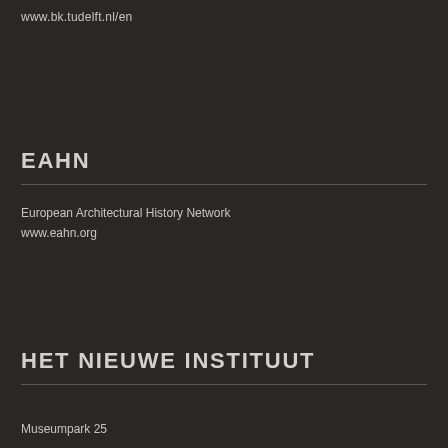www.bk.tudelft.nl/en
EAHN
European Architectural History Network
www.eahn.org
HET NIEUWE INSTITUUT
Museumpark 25